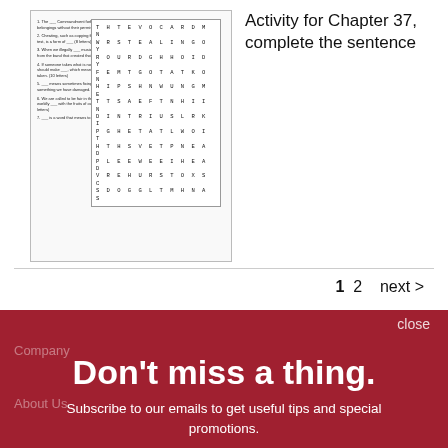[Figure (screenshot): Thumbnail of a worksheet with clues on the left and a word search grid on the right]
Activity for Chapter 37, complete the sentence
1  2  next >
close
Don't miss a thing.
Subscribe to our emails to get useful tips and special promotions.
Sign Up
Company
About Us
Careers
Rights & Permissions
Submissions